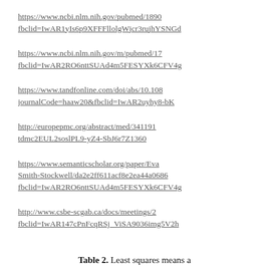https://www.ncbi.nlm.nih.gov/pubmed/1890... fbclid-IwAR1yIs6p9XFFFllolgWjcr3rujhYSNGd...
https://www.ncbi.nlm.nih.gov/m/pubmed/17... fbclid-IwAR2RO6nttSUAd4m5FESYXk6CFV4g...
https://www.tandfonline.com/doi/abs/10.108... journalCode=haaw20&fbclid=IwAR2uyhy8-bK...
http://europepmc.org/abstract/med/341191... tdmc2EUL2soslPL9-yZ4-SbJ6r7Z1360
https://www.semanticscholar.org/paper/Eva... Smith-Stockwell/da2e2ff611acf8e2ea44a0686... fbclid=IwAR2RO6nttSUAd4m5FESYXk6CFV4g...
http://www.csbe-scgab.ca/docs/meetings/2... fbclid=IwAR147cPnFcqRSj_ViSA9036img5V2h...
Table 2. Least squares means a...